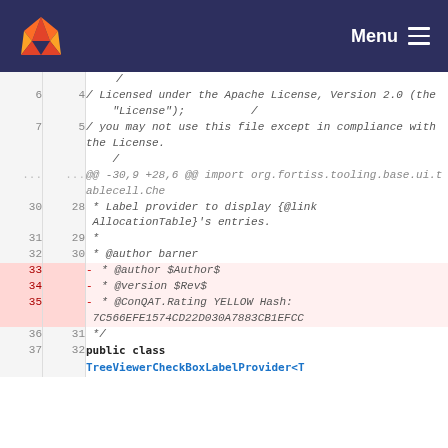GitLab logo | Menu
| old_ln | new_ln | code |
| --- | --- | --- |
|  |  | / |
| 6 | 4 | / Licensed under the Apache License, Version 2.0 (the "License");          / |
| 7 | 5 | / you may not use this file except in compliance with the License.
      / |
| ... | ... | @@ -30,9 +28,6 @@ import org.fortiss.tooling.base.ui.tablecell.Che |
| 30 | 28 | * Label provider to display {@link AllocationTable}'s entries. |
| 31 | 29 | * |
| 32 | 30 | * @author barner |
| 33 |  | - * @author $Author$ |
| 34 |  | - * @version $Rev$ |
| 35 |  | - * @ConQAT.Rating YELLOW Hash: 7C566EFE1574CD22D030A7883CB1EFCC |
| 36 | 31 | */ |
| 37 | 32 | public class TreeViewerCheckBoxLabelProvider<T |